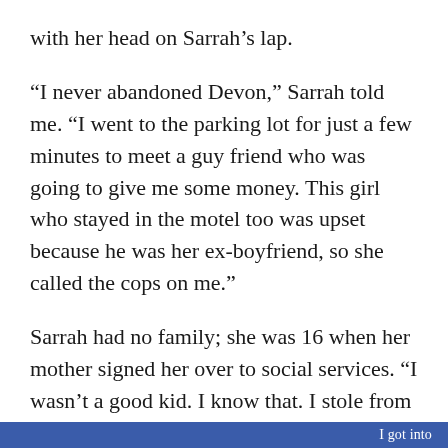with her head on Sarrah’s lap.
“I never abandoned Devon,” Sarrah told me. “I went to the parking lot for just a few minutes to meet a guy friend who was going to give me some money. This girl who stayed in the motel too was upset because he was her ex-boyfriend, so she called the cops on me.”
Sarrah had no family; she was 16 when her mother signed her over to social services. “I wasn’t a good kid. I know that. I stole from my mom and ran away a lot. She and her husband didn’t want me back. See this scar?” She leaned toward me and pointed to the tiny scar I’d
I got into